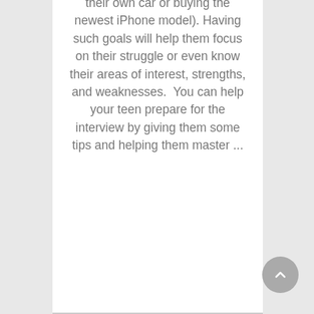their own car or buying the newest iPhone model). Having such goals will help them focus on their struggle or even know their areas of interest, strengths, and weaknesses.  You can help your teen prepare for the interview by giving them some tips and helping them master ...